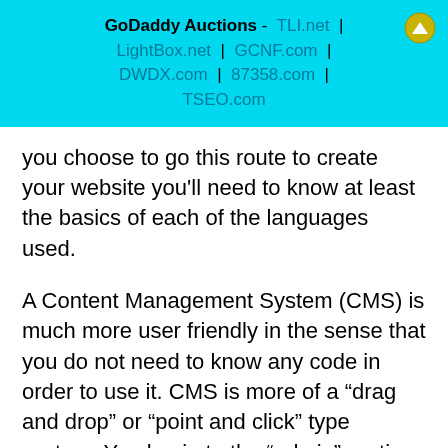GoDaddy Auctions - TLI.net | LightBox.net | GCNF.com | DWDX.com | 87358.com | TSEO.com
you choose to go this route to create your website you'll need to know at least the basics of each of the languages used.
A Content Management System (CMS) is much more user friendly in the sense that you do not need to know any code in order to use it. CMS is more of a “drag and drop” or “point and click” type system. You log in to the “admin” portion of the website and make the changes you desire and update. The changes you make to